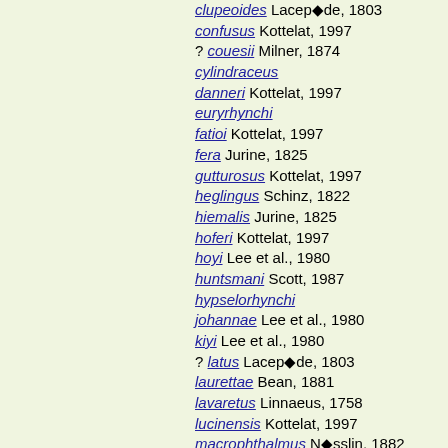clupeoides Lacepède, 1803
confusus Kottelat, 1997
? couesii Milner, 1874
cylindraceus
danneri Kottelat, 1997
euryrhynchi
fatioi Kottelat, 1997
fera Jurine, 1825
gutturosus Kottelat, 1997
heglingus Schinz, 1822
hiemalis Jurine, 1825
hoferi Kottelat, 1997
hoyi Lee et al., 1980
huntsmani Scott, 1987
hypselorhynchi
johannae Lee et al., 1980
kiyi Lee et al., 1980
? latus Lacepède, 1803
laurettae Bean, 1881
lavaretus Linnaeus, 1758
lucinensis Kottelat, 1997
macrophthalmus Nösslin, 1882
maraena Kottelat, 1997
maxillaris Günther, 1866